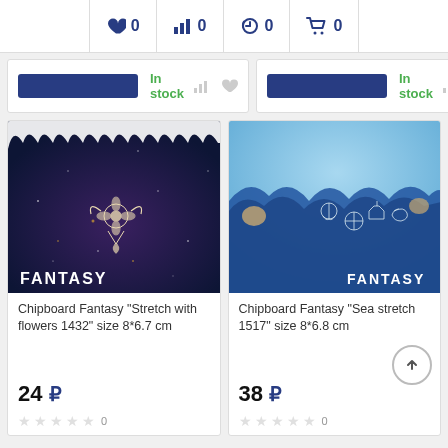♥ 0  📊 0  🕒 0  🛒 0
In stock
In stock
[Figure (photo): Product photo: Chipboard Fantasy 'Stretch with flowers 1432', dark blue galaxy background with lace edge and floral chipboard ornament, FANTASY watermark]
Chipboard Fantasy "Stretch with flowers 1432" size 8*6.7 cm
24 ₽
0
[Figure (photo): Product photo: Chipboard Fantasy 'Sea stretch 1517', blue background with blue ruffled fabric and silver sea-themed chipboard charms, FANTASY watermark]
Chipboard Fantasy "Sea stretch 1517" size 8*6.8 cm
38 ₽
0